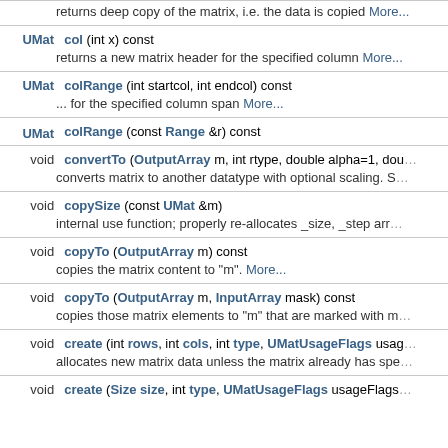| Return | Method / Description |
| --- | --- |
|  | returns deep copy of the matrix, i.e. the data is copied More... |
| UMat | col (int x) const / returns a new matrix header for the specified column More... |
| UMat | colRange (int startcol, int endcol) const / ... for the specified column span More... |
| UMat | colRange (const Range &r) const |
| void | convertTo (OutputArray m, int rtype, double alpha=1, dou... / converts matrix to another datatype with optional scaling. S... |
| void | copySize (const UMat &m) / internal use function; properly re-allocates _size, _step arr... |
| void | copyTo (OutputArray m) const / copies the matrix content to "m". More... |
| void | copyTo (OutputArray m, InputArray mask) const / copies those matrix elements to "m" that are marked with m... |
| void | create (int rows, int cols, int type, UMatUsageFlags usag... / allocates new matrix data unless the matrix already has spe... |
| void | create (Size size, int type, UMatUsageFlags usageFlags... |